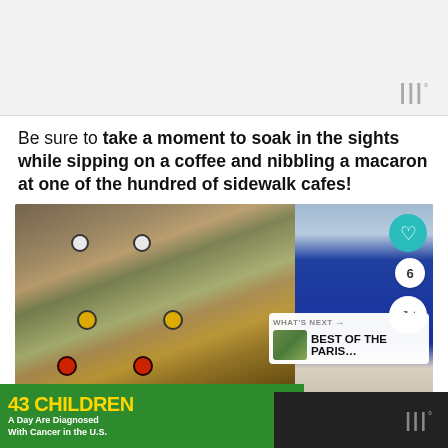Be sure to take a moment to soak in the sights while sipping on a coffee and nibbling a macaron at one of the hundred of sidewalk cafes!
[Figure (photo): Photo of vintage toy cars and teddy bears in a shop window display, with a young child smiling on the right side. Overlay UI elements include a teal heart button, share button, count of 6, and a 'What's Next → Best of the Paris...' card with thumbnail.]
[Figure (infographic): Advertisement banner: '43 CHILDREN A Day Are Diagnosed With Cancer in the U.S.' with cookies for kids' cancer logo and 'Let's Get Baking' call to action.]